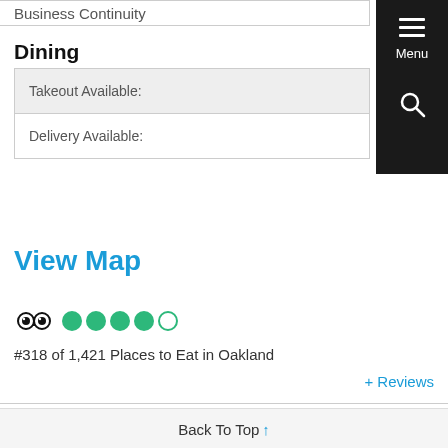Business Continuity
Dining
| Takeout Available: |
| Delivery Available: |
View Map
[Figure (other): TripAdvisor owl logo with 4 out of 5 green circles rating]
#318 of 1,421 Places to Eat in Oakland
+ Reviews
Back To Top ↑